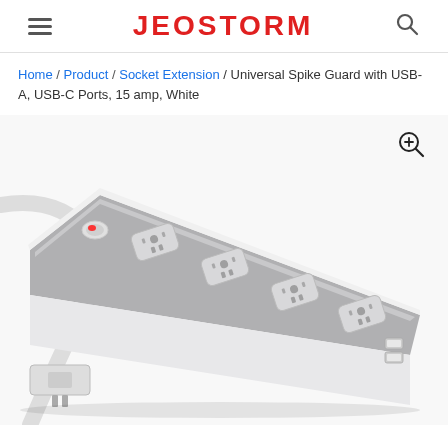JEOSTORM
Home / Product / Socket Extension / Universal Spike Guard with USB-A, USB-C Ports, 15 amp, White
[Figure (photo): Product photo of a white universal spike guard/surge protector power strip with multiple universal sockets, a red LED power button, and USB ports. The strip is shown at an angle with a white cable attached. USB-A and USB-C ports are visible at one end, and the power plug is visible at the bottom.]